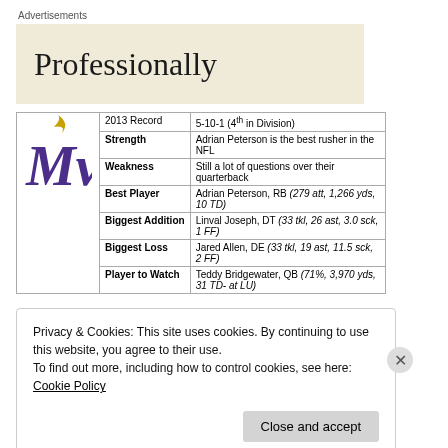Advertisements
[Figure (other): Advertisement banner with text 'Professionally' on a beige background]
| 2013 Record | 5-10-1 (4th in Division) |
| Strength | Adrian Peterson is the best rusher in the NFL |
| Weakness | Still a lot of questions over their quarterback |
| Best Player | Adrian Peterson, RB (279 att, 1,266 yds, 10 TD) |
| Biggest Addition | Linval Joseph, DT (33 tkl, 26 ast, 3.0 sck, 1 FF) |
| Biggest Loss | Jared Allen, DE (33 tkl, 19 ast, 11.5 sck, 2 FF) |
| Player to Watch | Teddy Bridgewater, QB (71%, 3,970 yds, 31 TD- at LU) |
Privacy & Cookies: This site uses cookies. By continuing to use this website, you agree to their use. To find out more, including how to control cookies, see here: Cookie Policy